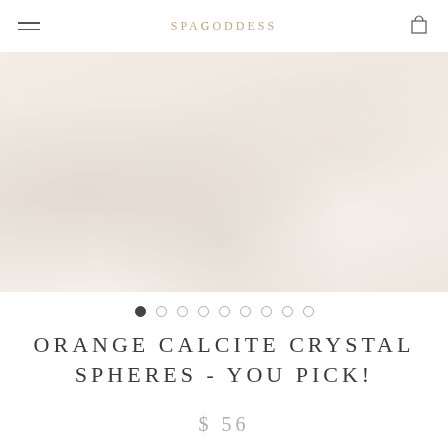SpaGoddess
[Figure (photo): Product photo of orange calcite crystal spheres on a light neutral background, very light/washed out tones]
ORANGE CALCITE CRYSTAL SPHERES - YOU PICK!
$ 56